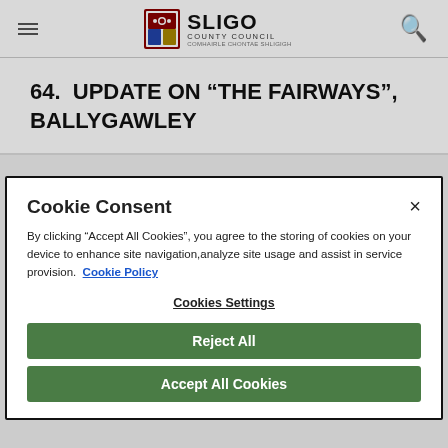Sligo County Council
64.  UPDATE ON “THE FAIRWAYS”, BALLYGAWLEY
Cookie Consent

By clicking “Accept All Cookies”, you agree to the storing of cookies on your device to enhance site navigation,analyze site usage and assist in service provision.  Cookie Policy

Cookies Settings

Reject All

Accept All Cookies